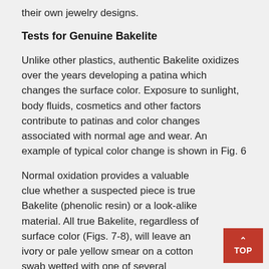their own jewelry designs.
Tests for Genuine Bakelite
Unlike other plastics, authentic Bakelite oxidizes over the years developing a patina which changes the surface color. Exposure to sunlight, body fluids, cosmetics and other factors contribute to patinas and color changes associated with normal age and wear. An example of typical color change is shown in Fig. 6
Normal oxidation provides a valuable clue whether a suspected piece is true Bakelite (phenolic resin) or a look-alike material. All true Bakelite, regardless of surface color (Figs. 7-8), will leave an ivory or pale yellow smear on a cotton swab wetted with one of several